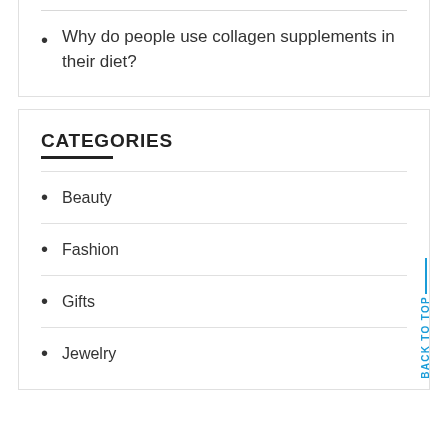Why do people use collagen supplements in their diet?
CATEGORIES
Beauty
Fashion
Gifts
Jewelry